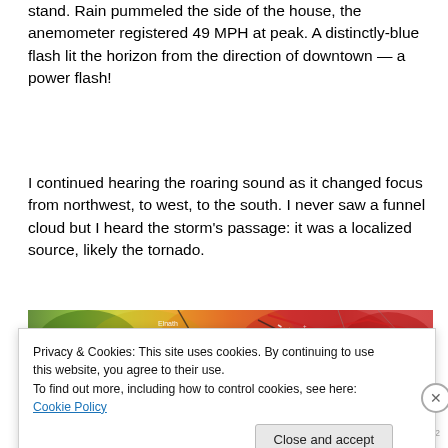stand. Rain pummeled the side of the house, the anemometer registered 49 MPH at peak. A distinctly-blue flash lit the horizon from the direction of downtown — a power flash!
I continued hearing the roaring sound as it changed focus from northwest, to west, to the south. I never saw a funnel cloud but I heard the storm's passage: it was a localized source, likely the tornado.
[Figure (photo): Radar image showing a weather map with red and yellow color gradients indicating storm intensity, with location labels including Elnath, Bailico, Bearwood, and road/boundary lines overlaid.]
Privacy & Cookies: This site uses cookies. By continuing to use this website, you agree to their use.
To find out more, including how to control cookies, see here: Cookie Policy
Close and accept